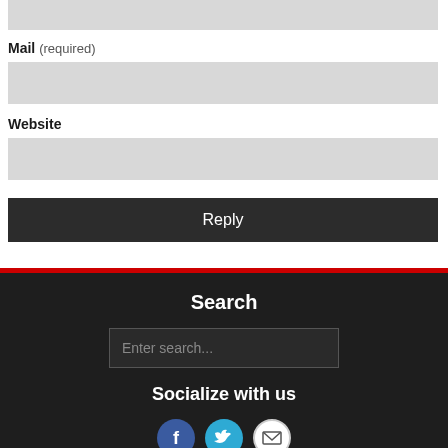[Figure (screenshot): Form input field (top, partially visible, gray background)]
Mail (required)
[Figure (screenshot): Form input field for Mail (gray background)]
Website
[Figure (screenshot): Form input field for Website (gray background)]
Reply
Search
Enter search...
Socialize with us
[Figure (infographic): Social media icons: Facebook (blue circle with f), Twitter (teal circle with bird), Email (white circle with envelope)]